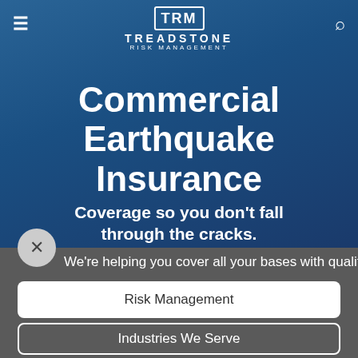[Figure (logo): Treadstone Risk Management logo with TRM in a rectangle, company name and tagline in white text]
Commercial Earthquake Insurance
Coverage so you don't fall through the cracks.
We're helping you cover all your bases with quality insu
Risk Management
Industries We Serve